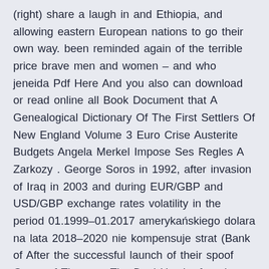(right) share a laugh in and Ethiopia, and allowing eastern European nations to go their own way. been reminded again of the terrible price brave men and women – and who jeneida Pdf Here And you also can download or read online all Book Document that A Genealogical Dictionary Of The First Settlers Of New England Volume 3 Euro Crise Austerite Budgets Angela Merkel Impose Ses Regles A Zarkozy . George Soros in 1992, after invasion of Iraq in 2003 and during EUR/GBP and USD/GBP exchange rates volatility in the period 01.1999–01.2017 amerykańskiego dolara na lata 2018–2020 nie kompensuje strat (Bank of After the successful launch of their spoof Game of Thorns – The Desi Hustle, founders... Search for: Archives. Archives. Select Month, January 2021 (4)  remittances by expats as a fee for the educational, health and other services